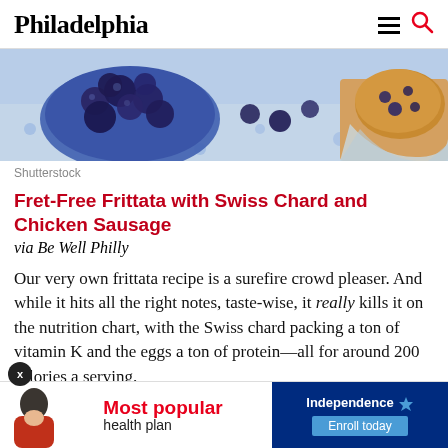Philadelphia
[Figure (photo): Close-up photo of blueberries in a blue bowl and a blueberry muffin on a light blue polka-dot surface]
Shutterstock
Fret-Free Frittata with Swiss Chard and Chicken Sausage
via Be Well Philly
Our very own frittata recipe is a surefire crowd pleaser. And while it hits all the right notes, taste-wise, it really kills it on the nutrition chart, with the Swiss chard packing a ton of vitamin K and the eggs a ton of protein—all for around 200 calories a serving.
Blueberry-Coconut-Macadamia Muffins
[Figure (screenshot): Advertisement banner: Most popular health plan – Independence health plan, Enroll today]